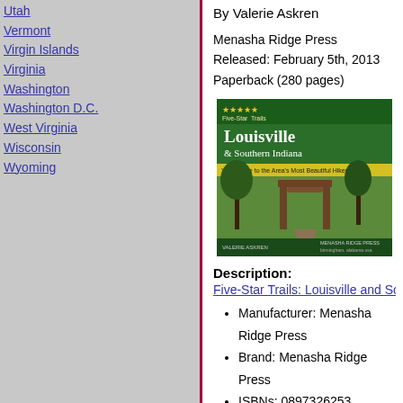Utah
Vermont
Virgin Islands
Virginia
Washington
Washington D.C.
West Virginia
Wisconsin
Wyoming
By Valerie Askren
Menasha Ridge Press
Released: February 5th, 2013
Paperback (280 pages)
[Figure (photo): Book cover: Five-Star Trails Louisville & Southern Indiana]
Description:
Five-Star Trails: Louisville and Southern Indiana: Your
Manufacturer: Menasha Ridge Press
Brand: Menasha Ridge Press
ISBNs: 0897326253, 9780897326254
EAN: 9780897326254
PartNumber: 9780897326254
Details: